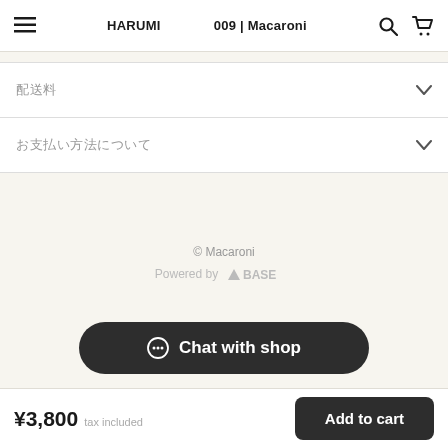HARUMI　　　　009 | Macaroni
配送料
お支払い方法について
© Macaroni
Powered by BASE
Chat with shop
¥3,800  tax included  Add to cart